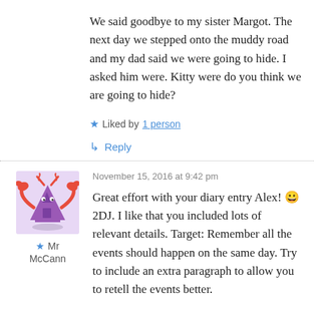We said goodbye to my sister Margot. The next day we stepped onto the muddy road and my dad said we were going to hide. I asked him were. Kitty were do you think we are going to hide?
★ Liked by 1 person
↳ Reply
November 15, 2016 at 9:42 pm
[Figure (illustration): Avatar image of a purple cartoon character with red crab-like claws and antennae on a light purple background]
★ Mr McCann
Great effort with your diary entry Alex! 😀 2DJ. I like that you included lots of relevant details. Target: Remember all the events should happen on the same day. Try to include an extra paragraph to allow you to retell the events better.